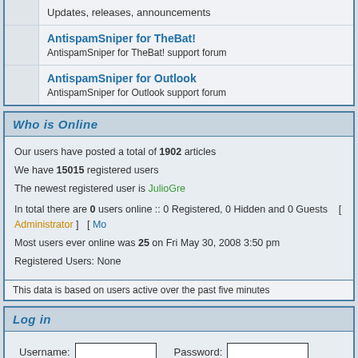Updates, releases, announcements
AntispamSniper for TheBat!
AntispamSniper for TheBat! support forum
AntispamSniper for Outlook
AntispamSniper for Outlook support forum
Who is Online
Our users have posted a total of 1902 articles
We have 15015 registered users
The newest registered user is JulioGre
In total there are 0 users online :: 0 Registered, 0 Hidden and 0 Guests   [ Administrator ]  [ Mo
Most users ever online was 25 on Fri May 30, 2008 3:50 pm
Registered Users: None
This data is based on users active over the past five minutes
Log in
Username:  [input]  Password:  [input]  Log me on autom
New posts    No new posts    Forum is
Powered by phpBB © 2001, 2005 phpBB Group